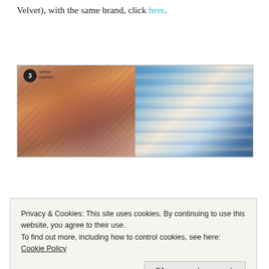Velvet), with the same brand, click here.
[Figure (photo): Two photos side by side: left shows a colorful crocheted/knitted scarf displayed on a product card with a badge showing '3' and text 'skeins needed'; right shows a blue and cream chevron/ripple pattern crochet throw or item photographed close up on a white surface with dark fabric in background.]
Privacy & Cookies: This site uses cookies. By continuing to use this website, you agree to their use.
To find out more, including how to control cookies, see here: Cookie Policy
The gorgeous crochet throw in the above left picture was